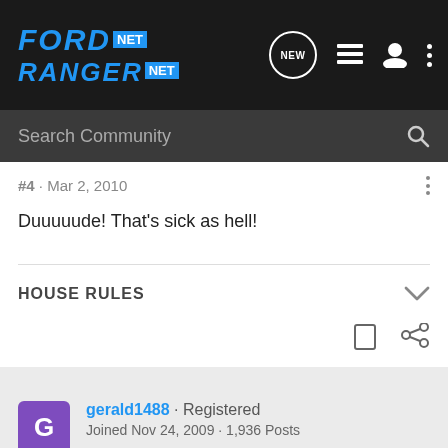[Figure (logo): Ford Ranger Net logo in blue on dark background nav bar with navigation icons]
Search Community
#4 · Mar 2, 2010
Duuuuude! That's sick as hell!
HOUSE RULES
gerald1488 · Registered
Joined Nov 24, 2009 · 1,936 Posts